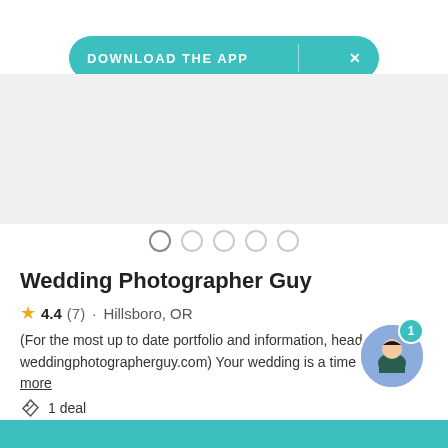DOWNLOAD THE APP
[Figure (screenshot): Photo carousel placeholder area (light gray) with 5 dot indicators below]
Wedding Photographer Guy
4.4 (7) · Hillsboro, OR
(For the most up to date portfolio and information, head over to weddingphotographerguy.com) Your wedding is a time to... Read more
1 deal
$2,500